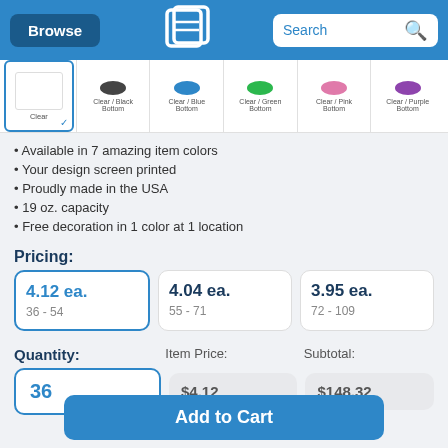Browse | QLP | Search
[Figure (other): Color swatch options: Clear (selected), Clear/Black Bottom, Clear/Blue Bottom, Clear/Green Bottom, Clear/Pink Bottom, Clear/Purple Bottom]
Available in 7 amazing item colors
Your design screen printed
Proudly made in the USA
19 oz. capacity
Free decoration in 1 color at 1 location
Pricing:
| Price | Quantity Range |
| --- | --- |
| 4.12 ea. | 36 - 54 |
| 4.04 ea. | 55 - 71 |
| 3.95 ea. | 72 - 109 |
Quantity: 36   Item Price: $4.12   Subtotal: $148.32
Add to Cart